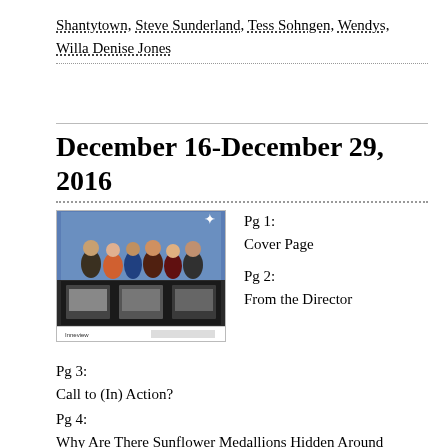Shantytown, Steve Sunderland, Tess Sohngen, Wendys, Willa Denise Jones
December 16-December 29, 2016
[Figure (photo): Thumbnail image showing a group photo on top half (people at an event) and three smaller images on the bottom half, with a footer bar.]
Pg 1:
Cover Page
Pg 2:
From the Director
Pg 3:
Call to (In) Action?
Pg 4:
Why Are There Sunflower Medallions Hidden Around